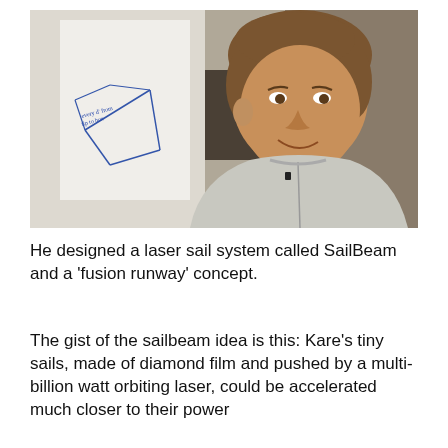[Figure (photo): A middle-aged man with medium-length brown hair wearing a grey zip-up sweatshirt, leaning back and smiling. Behind him is a whiteboard with blue handwritten diagrams and notes, and a calendar or papers on the wall.]
He designed a laser sail system called SailBeam and a ‘fusion runway’ concept.
The gist of the sailbeam idea is this: Kare’s tiny sails, made of diamond film and pushed by a multi-billion watt orbiting laser, could be accelerated much closer to their power